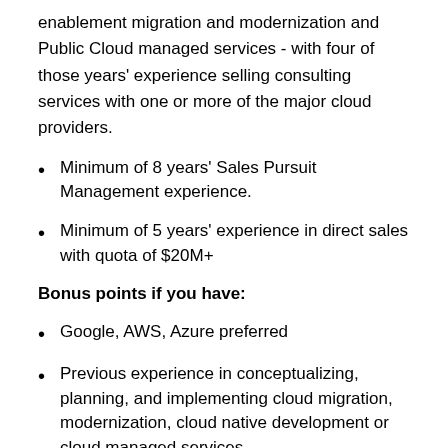enablement migration and modernization and Public Cloud managed services - with four of those years' experience selling consulting services with one or more of the major cloud providers.
Minimum of 8 years' Sales Pursuit Management experience.
Minimum of 5 years' experience in direct sales with quota of $20M+
Bonus points if you have:
Google, AWS, Azure preferred
Previous experience in conceptualizing, planning, and implementing cloud migration, modernization, cloud native development or cloud managed services.